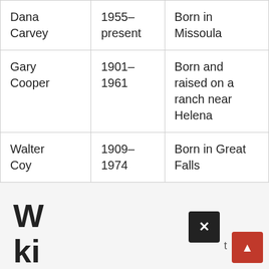| Dana Carvey | 1955–present | Born in Missoula |
| Gary Cooper | 1901–1961 | Born and raised on a ranch near Helena |
| Walter Coy | 1909–1974 | Born in Great Falls |
W
ki